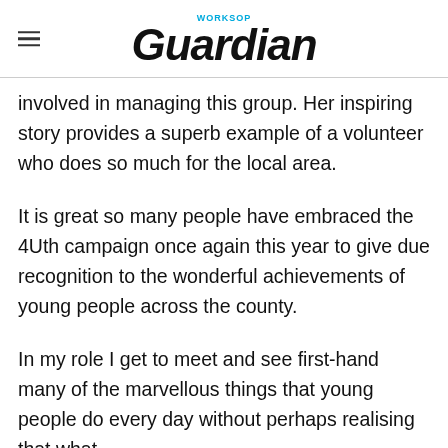WORKSOP Guardian
involved in managing this group. Her inspiring story provides a superb example of a volunteer who does so much for the local area.
It is great so many people have embraced the 4Uth campaign once again this year to give due recognition to the wonderful achievements of young people across the county.
In my role I get to meet and see first-hand many of the marvellous things that young people do every day without perhaps realising that what